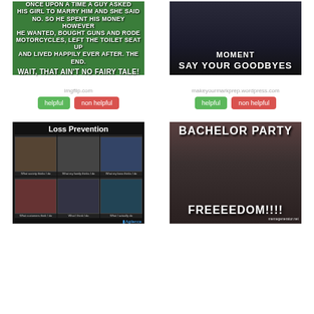[Figure (photo): Meme: green background with text 'once upon a time a guy asked his girl to marry him and she said no. So he spent his money however he wanted, bought guns and rode motorcycles, left the toilet seat up and lived happily ever after. The end. WAIT, THAT AIN'T NO FAIRY TALE!']
[Figure (photo): Meme: dark background with text 'MOMENT' and 'SAY YOUR GOODBYES']
imgflip.com
makeyourmarkprep.wordpress.com
helpful
non helpful
helpful
non helpful
[Figure (photo): Meme: Loss Prevention - black background with grid of 6 images showing what different groups think the job involves vs reality, with Agilence logo]
[Figure (photo): Meme: Bachelor Party - Braveheart warriors image with text 'BACHELOR PARTY' at top and 'FREEEEDOM!!!!' at bottom, memegenerator.net watermark]